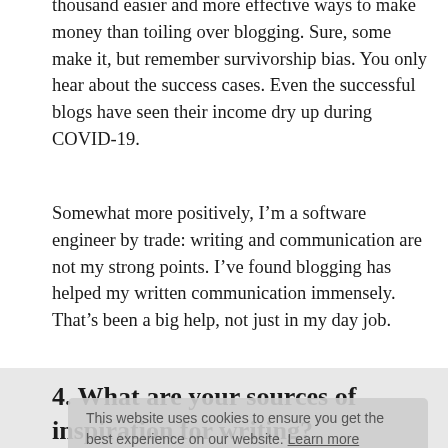thousand easier and more effective ways to make money than toiling over blogging. Sure, some make it, but remember survivorship bias. You only hear about the success cases. Even the successful blogs have seen their income dry up during COVID-19.
Somewhat more positively, I'm a software engineer by trade: writing and communication are not my strong points. I've found blogging has helped my written communication immensely. That's been a big help, not just in my day job.
4. What are your sources of inspiration for writing?
I try to take inspiration from conversations I've had recently. Either with the other-MM or friends & colleagues. Some good examples of this are about being child-free: the other-MM were talking about it when walking the dog. I've also been upset by seeing people so uncaring over lockdown.